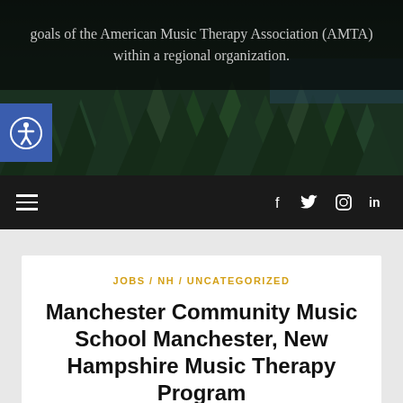goals of the American Music Therapy Association (AMTA) within a regional organization.
[Figure (photo): Forest of tall evergreen conifer trees, dark green tones, with dark overlay at top.]
Navigation bar with hamburger menu icon on left and social media icons (f, twitter, instagram, in) on right.
JOBS / NH / UNCATEGORIZED
Manchester Community Music School Manchester, New Hampshire Music Therapy Program